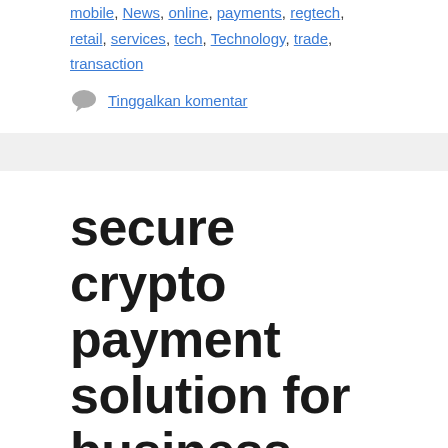mobile, News, online, payments, regtech, retail, services, tech, Technology, trade, transaction
Tinggalkan komentar
secure crypto payment solution for business
Agustus 1, 2022 oleh admin